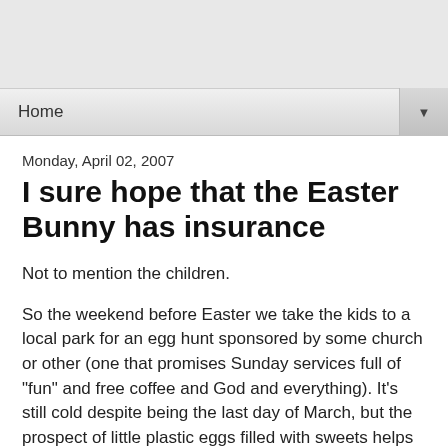Home
Monday, April 02, 2007
I sure hope that the Easter Bunny has insurance
Not to mention the children.
So the weekend before Easter we take the kids to a local park for an egg hunt sponsored by some church or other (one that promises Sunday services full of "fun" and free coffee and God and everything). It's still cold despite being the last day of March, but the prospect of little plastic eggs filled with sweets helps warm us a little.
It's a madhouse. The folks running the show have set aside a large pie of ground consisting of several slices dedicated to different age groups. We decide that for our kids to have a chance they should concentrate on the slice of their actual